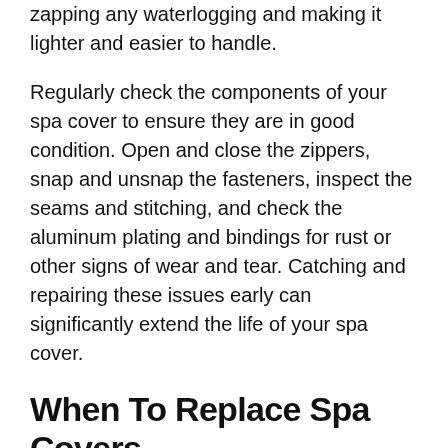zapping any waterlogging and making it lighter and easier to handle.
Regularly check the components of your spa cover to ensure they are in good condition. Open and close the zippers, snap and unsnap the fasteners, inspect the seams and stitching, and check the aluminum plating and bindings for rust or other signs of wear and tear. Catching and repairing these issues early can significantly extend the life of your spa cover.
When To Replace Spa Covers
Everything reaches its expiration date sooner or